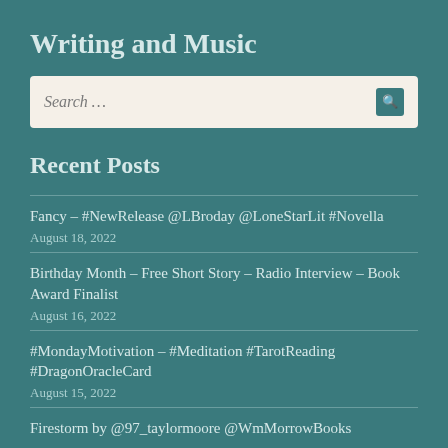Writing and Music
Search …
Recent Posts
Fancy – #NewRelease @LBroday @LoneStarLit #Novella
August 18, 2022
Birthday Month – Free Short Story – Radio Interview – Book Award Finalist
August 16, 2022
#MondayMotivation – #Meditation #TarotReading #DragonOracleCard
August 15, 2022
Firestorm by @97_taylormoore @WmMorrowBooks